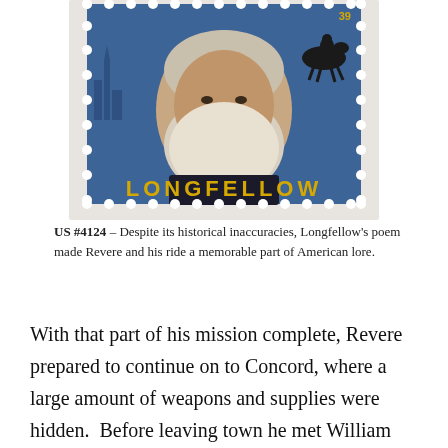[Figure (illustration): US postage stamp #4124 featuring Henry Wadsworth Longfellow. Shows a portrait of an elderly bearded man with white hair and beard, with a horseman silhouette in the background. Blue background tones. 'LONGFELLOW' text in gold/yellow at the bottom. Stamp has perforated edges on a light gray background.]
US #4124 – Despite its historical inaccuracies, Longfellow's poem made Revere and his ride a memorable part of American lore.
With that part of his mission complete, Revere prepared to continue on to Concord, where a large amount of weapons and supplies were hidden.  Before leaving town he met William Dawes, another rider who'd received the same mission but left from a different town.  They were also joined by a third rider